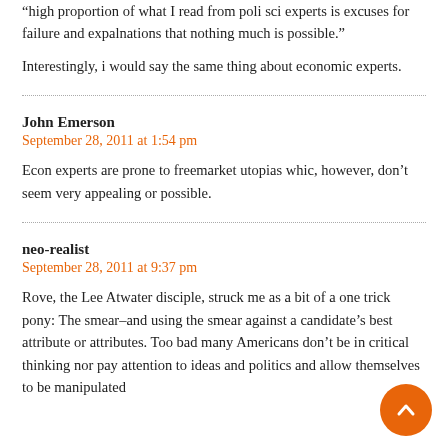“high proportion of what I read from poli sci experts is excuses for failure and expalnations that nothing much is possible.”
Interestingly, i would say the same thing about economic experts.
John Emerson
September 28, 2011 at 1:54 pm
Econ experts are prone to freemarket utopias whic, however, don’t seem very appealing or possible.
neo-realist
September 28, 2011 at 9:37 pm
Rove, the Lee Atwater disciple, struck me as a bit of a one trick pony: The smear–and using the smear against a candidate’s best attribute or attributes. Too bad many Americans don’t be in critical thinking nor pay attention to ideas and politics and allow themselves to be manipulated